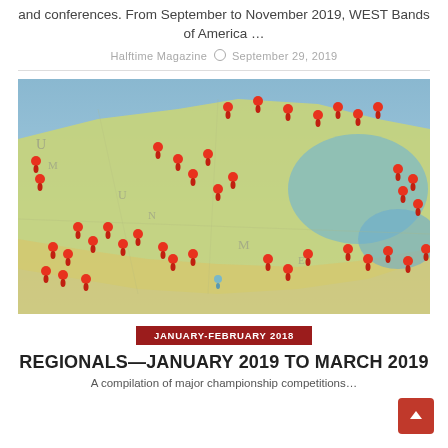and conferences. From September to November 2019, WEST Bands of America …
Halftime Magazine  September 29, 2019
[Figure (map): Photo of a physical map with numerous red location pins stuck into it, showing a geographic region including parts of the US and Mexico.]
JANUARY-FEBRUARY 2018
REGIONALS—JANUARY 2019 TO MARCH 2019
A compilation of major championship competitions…